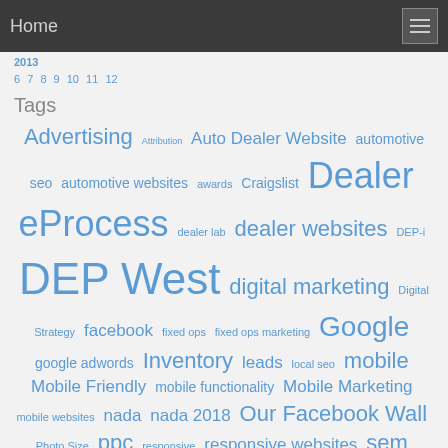Home
2013
6 7 8 9 10 11 12
Tags
Advertising Attribution Auto Dealer Website automotive seo automotive websites awards Craigslist Dealer eProcess dealer lab dealer websites DEP-i DEP West digital marketing Digital Strategy facebook fixed ops fixed ops marketing Google google adwords Inventory leads local seo mobile Mobile Friendly mobile functionality Mobile Marketing mobile websites nada nada 2018 Our Facebook Wall Photo Size ppc responsive responsive websites sem SEO social media system updates vdp vehicle details page video website websites website services website support